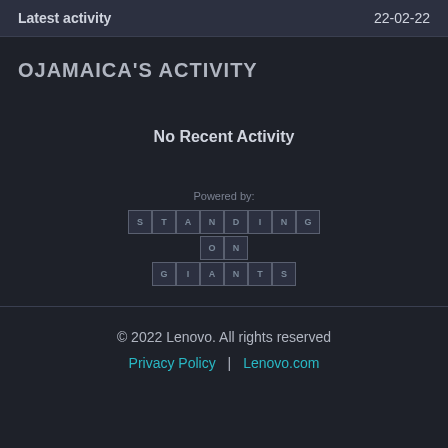| Latest activity | 22-02-22 |
| --- | --- |
OJAMAICA'S ACTIVITY
No Recent Activity
[Figure (logo): Standing on Giants logo — lettered cells arranged in three rows spelling STANDING / ON / GIANTS with 'Powered by:' text above]
© 2022 Lenovo. All rights reserved
Privacy Policy | Lenovo.com